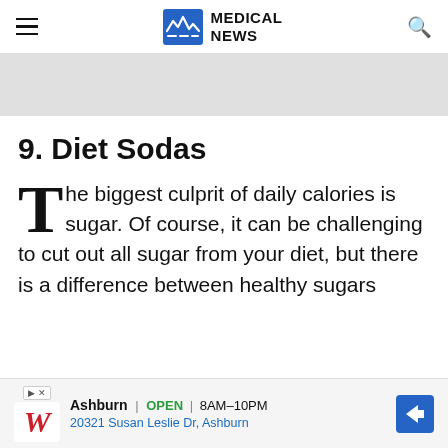MEDICAL NEWS
9. Diet Sodas
The biggest culprit of daily calories is sugar. Of course, it can be challenging to cut out all sugar from your diet, but there is a difference between healthy sugars
Advertisement
[Figure (other): Walgreens advertisement: Ashburn OPEN 8AM-10PM, 20321 Susan Leslie Dr, Ashburn with navigation arrow icon]